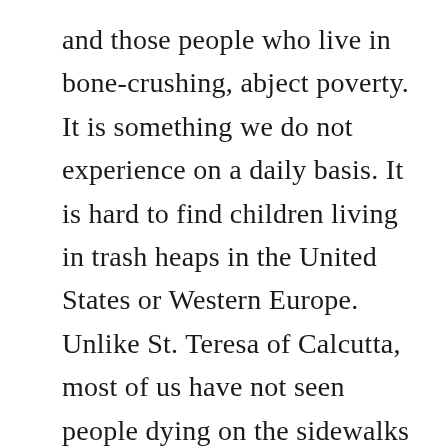and those people who live in bone-crushing, abject poverty. It is something we do not experience on a daily basis. It is hard to find children living in trash heaps in the United States or Western Europe. Unlike St. Teresa of Calcutta, most of us have not seen people dying on the sidewalks from disease and hunger. There is material poverty within our nations, but it is something largely considered to be an urban problem, and we may largely ignore it in our own backyards.